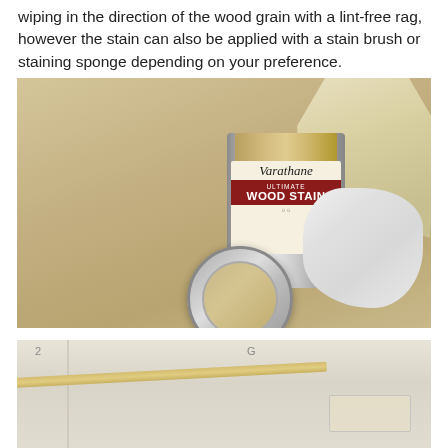wiping in the direction of the wood grain with a lint-free rag, however the stain can also be applied with a stain brush or staining sponge depending on your preference.
[Figure (photo): A gloved hand stirring a can of Varathane Ultimate Wood Stain with a wooden stick. The open can lid sits to the left on a tan/beige surface, with a white lint-free rag to the right of the can.]
[Figure (photo): A wooden stirring stick laid diagonally on a white painted wood surface, partially visible at the bottom of the page. A ruler or measuring device is partially visible in the upper right.]